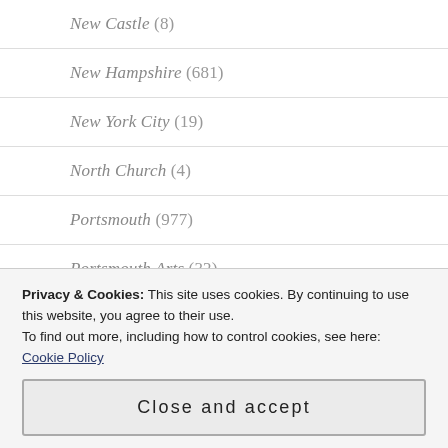New Castle (8)
New Hampshire (681)
New York City (19)
North Church (4)
Portsmouth (977)
Portsmouth Arts (32)
Portsmouth By Day | Portsmouth By Night (40)
Privacy & Cookies: This site uses cookies. By continuing to use this website, you agree to their use. To find out more, including how to control cookies, see here: Cookie Policy
Close and accept
Restaurants (87)